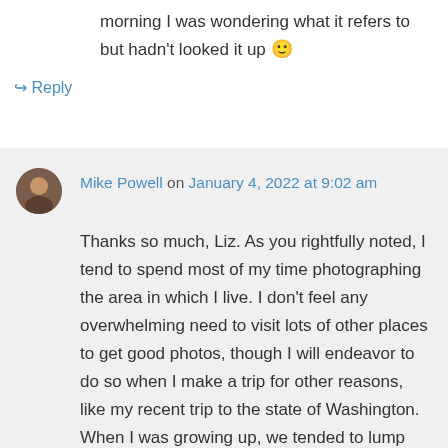morning I was wondering what it refers to but hadn't looked it up 🙂
↳ Reply
Mike Powell on January 4, 2022 at 9:02 am
Thanks so much, Liz. As you rightfully noted, I tend to spend most of my time photographing the area in which I live. I don't feel any overwhelming need to visit lots of other places to get good photos, though I will endeavor to do so when I make a trip for other reasons, like my recent trip to the state of Washington. When I was growing up, we tended to lump together the visits of the shepherds and the